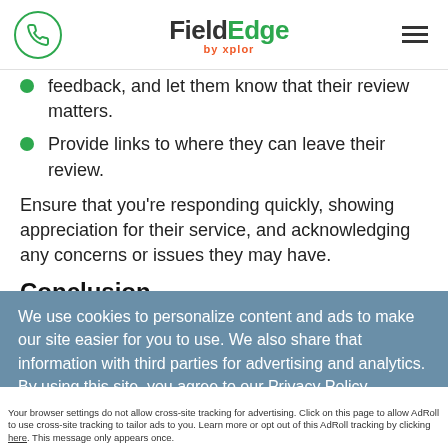FieldEdge by xplor
feedback, and let them know that their review matters.
Provide links to where they can leave their review.
Ensure that you’re responding quickly, showing appreciation for their service, and acknowledging any concerns or issues they may have.
Conclusion
We use cookies to personalize content and ads to make our site easier for you to use. We also share that information with third parties for advertising and analytics. By using this site, you agree to our Privacy Policy
Accept and Close ×
Your browser settings do not allow cross-site tracking for advertising. Click on this page to allow AdRoll to use cross-site tracking to tailor ads to you. Learn more or opt out of this AdRoll tracking by clicking here. This message only appears once.